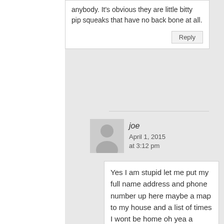anybody. It's obvious they are little bitty pip squeaks that have no back bone at all.
joe
April 1, 2015 at 3:12 pm
Yes I am stupid let me put my full name address and phone number up here maybe a map to my house and a list of times I wont be home oh yea a picture too that way someone can steal my identity I am so smart . What are you going to do